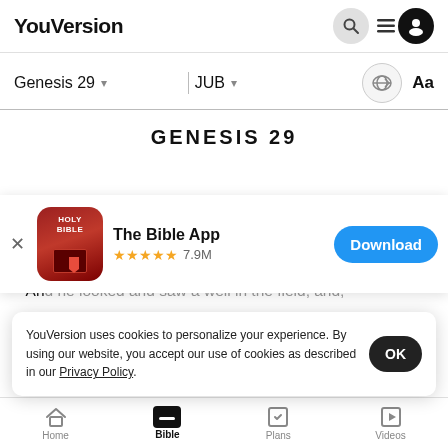YouVersion
Genesis 29 ▾   JUB ▾   Aa
GENESIS 29
[Figure (screenshot): The Bible App store banner with icon, 5 star rating 7.9M, and Download button]
Then, Jacob walked on and came into the land of
2 And he looked and saw a well in the field, and,
YouVersion uses cookies to personalize your experience. By using our website, you accept our use of cookies as described in our Privacy Policy.
Home   Bible   Plans   Videos